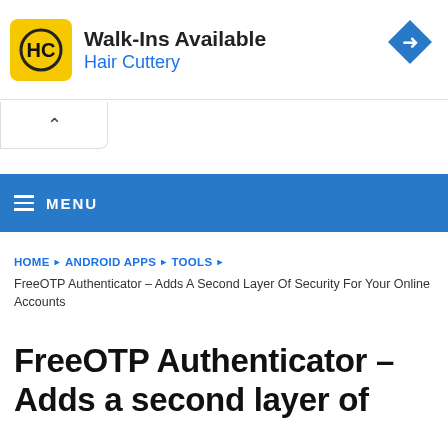[Figure (other): Advertisement banner for Hair Cuttery: yellow HC logo, text 'Walk-Ins Available / Hair Cuttery', blue diamond direction icon on right]
[Figure (other): Collapse/chevron-up button area below the ad banner]
≡ MENU
HOME ▶ ANDROID APPS ▶ TOOLS ▶
FreeOTP Authenticator – Adds A Second Layer Of Security For Your Online Accounts
FreeOTP Authenticator – Adds a second layer of